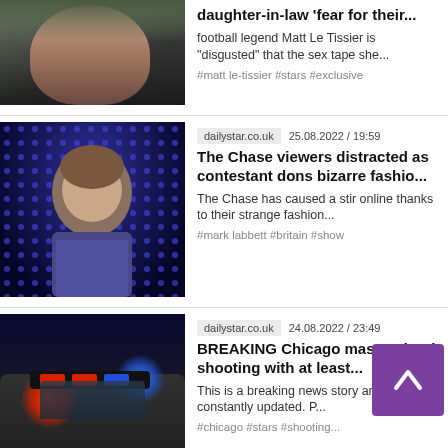[Figure (photo): Woman in black top, partially visible at top of page]
daughter-in-law 'fear for their...
football legend Matt Le Tissier is "disgusted" that the sex tape she...
#matt le-tissier #stars #exclusive
[Figure (photo): TV host on The Chase in front of blue dotted background]
dailystar.co.uk   25.08.2022 / 19:59
The Chase viewers distracted as contestant dons bizarre fashio...
The Chase has caused a stir online thanks to their strange fashion...
#mark labbett #britain #show
[Figure (photo): Police car with flashing red and blue emergency lights at night]
dailystar.co.uk   24.08.2022 / 23:49
BREAKING Chicago mass school shooting with at least...
This is a breaking news story and is being constantly updated. P...
#chicago #stars #shooting...